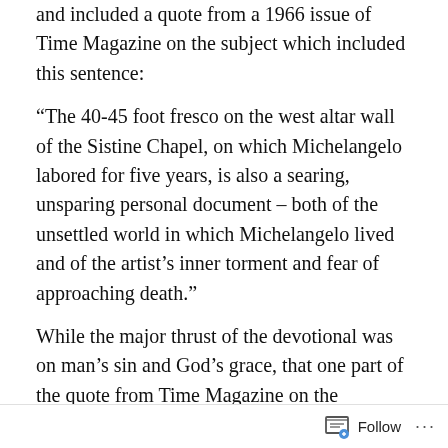and included a quote from a 1966 issue of Time Magazine on the subject which included this sentence:
“The 40-45 foot fresco on the west altar wall of the Sistine Chapel, on which Michelangelo labored for five years, is also a searing, unsparing personal document – both of the unsettled world in which Michelangelo lived and of the artist’s inner torment and fear of approaching death.”
While the major thrust of the devotional was on man’s sin and God’s grace, that one part of the quote from Time Magazine on the “unsettled world in which Michelangelo lived” jumped out at me.
As I reflected on that thought I began to consider the fact that no one has ever lived in a world that was not unsettled; unsettled is the norm for this world and seems
Follow